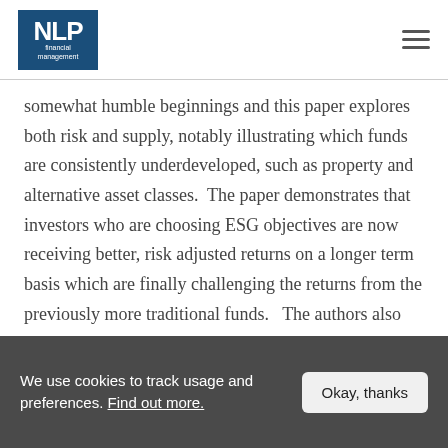NLP financial management
somewhat humble beginnings and this paper explores both risk and supply, notably illustrating which funds are consistently underdeveloped, such as property and alternative asset classes.  The paper demonstrates that investors who are choosing ESG objectives are now receiving better, risk adjusted returns on a longer term basis which are finally challenging the returns from the previously more traditional funds.   The authors also predict that although portfolio
We use cookies to track usage and preferences. Find out more.